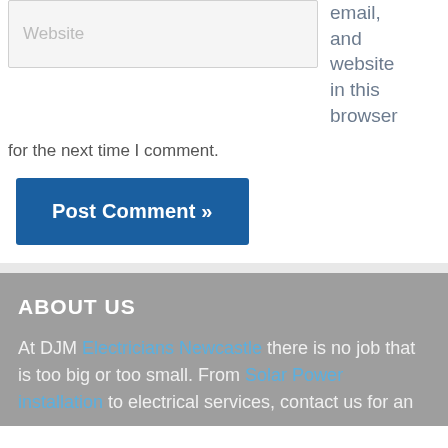[Figure (screenshot): Website input field form element with placeholder text 'Website' on a light gray background]
email, and website in this browser for the next time I comment.
Post Comment »
ABOUT US
At DJM Electricians Newcastle there is no job that is too big or too small. From Solar Power installation to electrical services, contact us for an